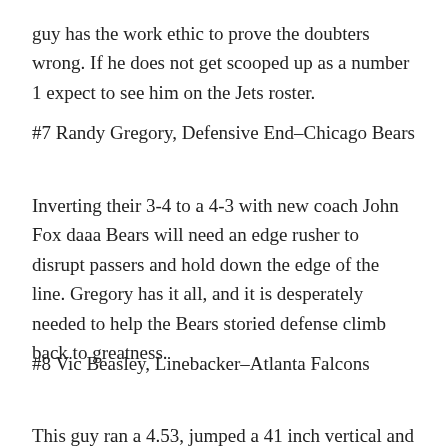guy has the work ethic to prove the doubters wrong. If he does not get scooped up as a number 1 expect to see him on the Jets roster.
#7 Randy Gregory, Defensive End–Chicago Bears
Inverting their 3-4 to a 4-3 with new coach John Fox daaa Bears will need an edge rusher to disrupt passers and hold down the edge of the line. Gregory has it all, and it is desperately needed to help the Bears storied defense climb back to greatness.
#8 Vic Beasley, Linebacker–Atlanta Falcons
This guy ran a 4.53, jumped a 41 inch vertical and weighed in at 35... a surprising of 235lbs who above...